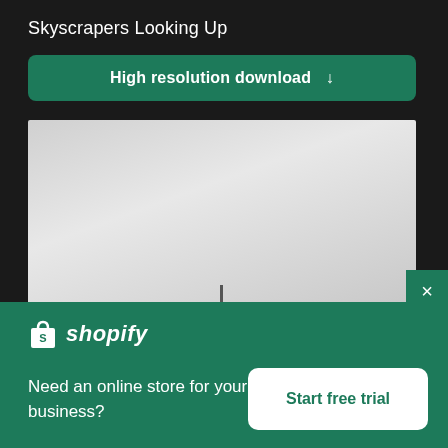Skyscrapers Looking Up
High resolution download ↓
[Figure (photo): Light gray sky photograph, likely looking up at skyscrapers, with a small dark spire visible at bottom center]
×
[Figure (logo): Shopify logo — shopping bag icon with 'shopify' in italic white text]
Need an online store for your business?
Start free trial